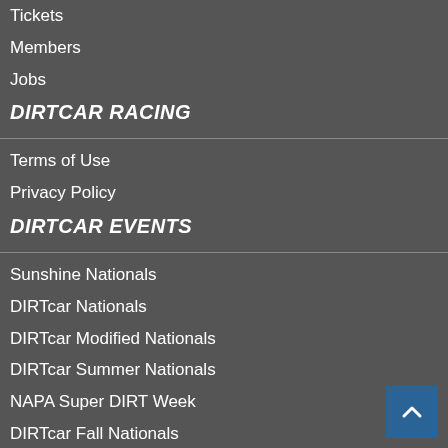Tickets
Members
Jobs
DIRTCAR RACING
Terms of Use
Privacy Policy
DIRTCAR EVENTS
Sunshine Nationals
DIRTcar Nationals
DIRTcar Modified Nationals
DIRTcar Summer Nationals
NAPA Super DIRT Week
DIRTcar Fall Nationals
World Short Track Championship
World of Outlaws World Finals